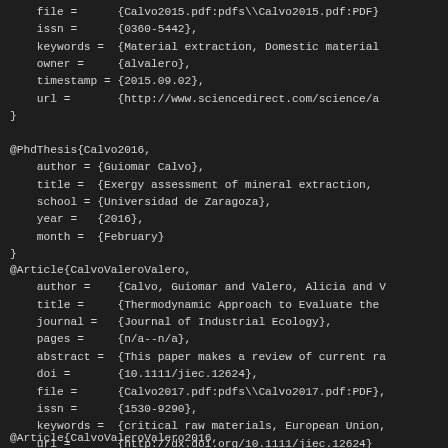file = {Calvo2015.pdf:pdfs\Calvo2015.pdf:PDF}
    issn = {0360-5442},
    keywords = {Material extraction, Domestic material
    owner = {alvalero},
    timestamp = {2015.09.02},
    url = {http://www.sciencedirect.com/science/a
}
@PhdThesis{Calvo2016,
    author = {Guiomar Calvo},
    title = {Exergy assessment of mineral extraction,
    school = {Universidad de Zaragoza},
    year = {2016},
    month = {February}
}
@Article{CalvoValeroValero,
    author = {Calvo, Guiomar and Valero, Alicia and V
    title = {Thermodynamic Approach to Evaluate the
    journal = {Journal of Industrial Ecology},
    pages = {n/a--n/a},
    abstract = {This paper makes a review of current ra
    doi = {10.1111/jiec.12624},
    file = {Calvo2017.pdf:pdfs\Calvo2017.pdf:PDF},
    issn = {1530-9290},
    keywords = {critical raw materials, European Union,
    url = {http://dx.doi.org/10.1111/jiec.12624}
}
@Article{CalvoValeroValero2016,
    author = {Calvo, Guiomar and Valero, Alicia and V